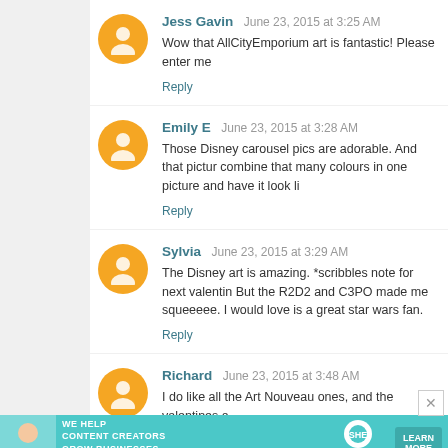Jess Gavin June 23, 2015 at 3:25 AM
Wow that AllCityEmporium art is fantastic! Please enter me
Reply
Emily E June 23, 2015 at 3:28 AM
Those Disney carousel pics are adorable. And that pictur combine that many colours in one picture and have it look li
Reply
Sylvia June 23, 2015 at 3:29 AM
The Disney art is amazing. *scribbles note for next valentine But the R2D2 and C3PO made me squeeeee. I would love is a great star wars fan.
Reply
Richard June 23, 2015 at 3:48 AM
I do like all the Art Nouveau ones, and the valentines a
[Figure (infographic): SHE Partner Network advertisement banner with teal background. Text: WE HELP CONTENT CREATORS GROW BUSINESSES THROUGH... SHE PARTNER NETWORK BECOME A MEMBER. Learn More button.]